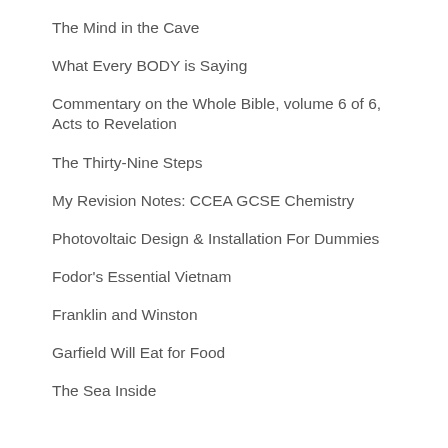The Mind in the Cave
What Every BODY is Saying
Commentary on the Whole Bible, volume 6 of 6, Acts to Revelation
The Thirty-Nine Steps
My Revision Notes: CCEA GCSE Chemistry
Photovoltaic Design & Installation For Dummies
Fodor's Essential Vietnam
Franklin and Winston
Garfield Will Eat for Food
The Sea Inside